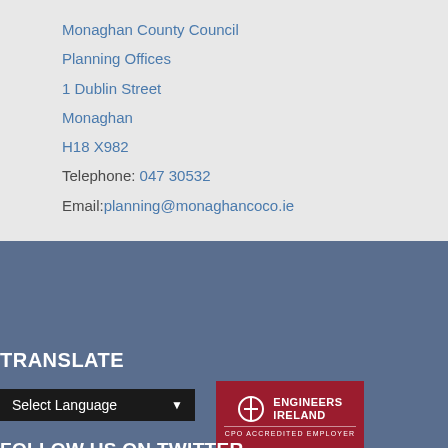Monaghan County Council
Planning Offices
1 Dublin Street
Monaghan
H18 X982
Telephone: 047 30532
Email:planning@monaghancoco.ie
TRANSLATE
[Figure (other): Select Language dropdown and Engineers Ireland CPO Accredited Employer badge]
FOLLOW US ON TWITTER
Tweets by @MonaghanCoCo